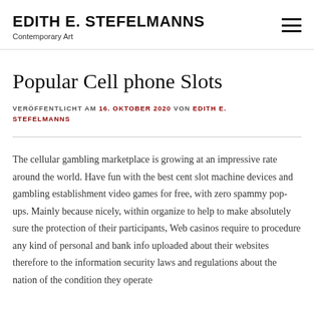EDITH E. STEFELMANNS
Contemporary Art
Popular Cell phone Slots
VERÖFFENTLICHT AM 16. OKTOBER 2020 VON EDITH E. STEFELMANNS
The cellular gambling marketplace is growing at an impressive rate around the world. Have fun with the best cent slot machine devices and gambling establishment video games for free, with zero spammy pop-ups. Mainly because nicely, within organize to help to make absolutely sure the protection of their participants, Web casinos require to procedure any kind of personal and bank info uploaded about their websites therefore to the information security laws and regulations about the nation of the condition they operate